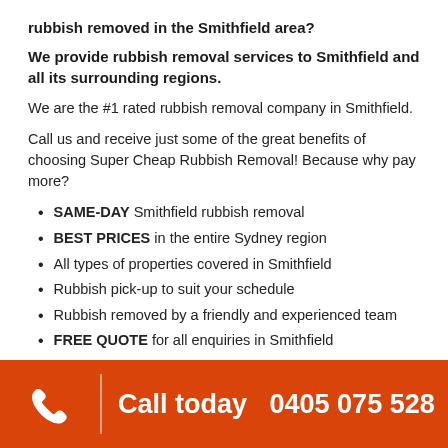rubbish removed in the Smithfield area?
We provide rubbish removal services to Smithfield and all its surrounding regions.
We are the #1 rated rubbish removal company in Smithfield.
Call us and receive just some of the great benefits of choosing Super Cheap Rubbish Removal! Because why pay more?
SAME-DAY Smithfield rubbish removal
BEST PRICES in the entire Sydney region
All types of properties covered in Smithfield
Rubbish pick-up to suit your schedule
Rubbish removed by a friendly and experienced team
FREE QUOTE for all enquiries in Smithfield
We are a reliable and professional team who can get your waste removed for residential & commercial rubbish removal.
Call today  0405 075 528